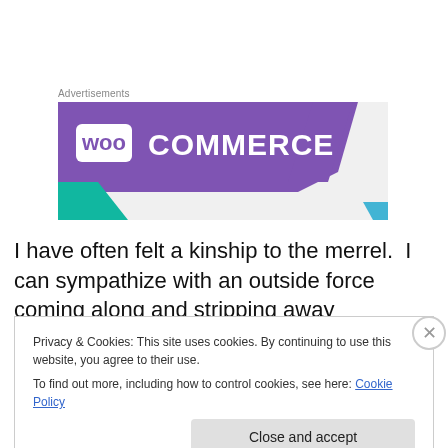Advertisements
[Figure (logo): WooCommerce advertisement banner with purple background, WooCommerce logo in white text, teal/green accent shape at bottom left, light grey background at right, small blue shape at bottom right]
I have often felt a kinship to the merrel.  I can sympathize with an outside force coming along and stripping away
Privacy & Cookies: This site uses cookies. By continuing to use this website, you agree to their use.
To find out more, including how to control cookies, see here: Cookie Policy
Close and accept